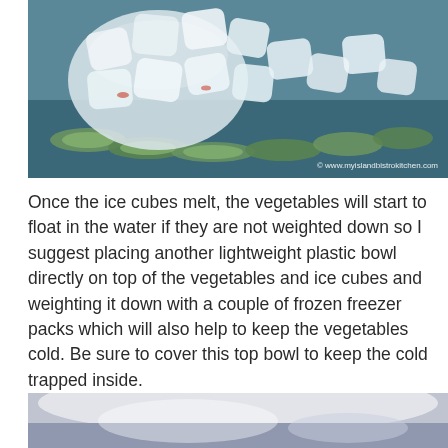[Figure (photo): A blue bowl filled with sliced cucumbers and ice cubes, with a watermark reading © www.myislandbistrokitchen.com]
Once the ice cubes melt, the vegetables will start to float in the water if they are not weighted down so I suggest placing another lightweight plastic bowl directly on top of the vegetables and ice cubes and weighting it down with a couple of frozen freezer packs which will also help to keep the vegetables cold. Be sure to cover this top bowl to keep the cold trapped inside.
[Figure (photo): A white or light-colored bowl with a plastic bag or cover placed on top, partially visible at the bottom of the page.]